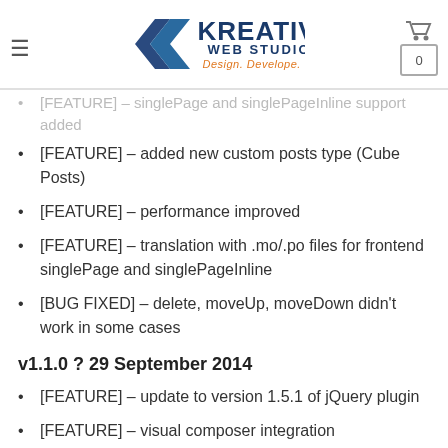Kreative Web Studios — Design. Develope. Create.
[FEATURE] – singlePage and singlePageInline support added
[FEATURE] – added new custom posts type (Cube Posts)
[FEATURE] – performance improved
[FEATURE] – translation with .mo/.po files for frontend singlePage and singlePageInline
[BUG FIXED] – delete, moveUp, moveDown didn't work in some cases
v1.1.0 ? 29 September 2014
[FEATURE] – update to version 1.5.1 of jQuery plugin
[FEATURE] – visual composer integration
[FEATURE] – option to open links in new window(set